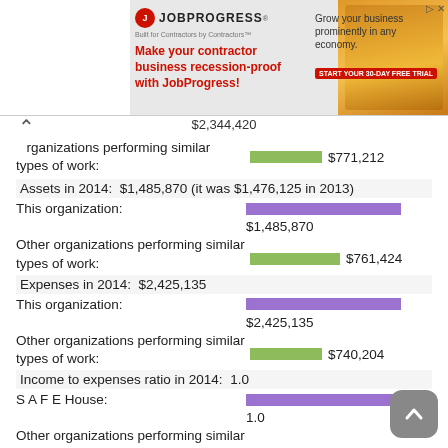[Figure (screenshot): JobProgress advertisement banner showing logo, tagline 'Make your contractor business recession-proof with JobProgress!', worker in orange vest]
$2,344,420
organizations performing similar types of work:
$771,212
Assets in 2014:  $1,485,870 (it was $1,476,125 in 2013)
This organization:
$1,485,870
Other organizations performing similar types of work:
$761,424
Expenses in 2014:  $2,425,135
This organization:
$2,425,135
Other organizations performing similar types of work:
$740,204
Income to expenses ratio in 2014:  1.0
S A F E House:
1.0
Other organizations performing similar types of work:
1.0